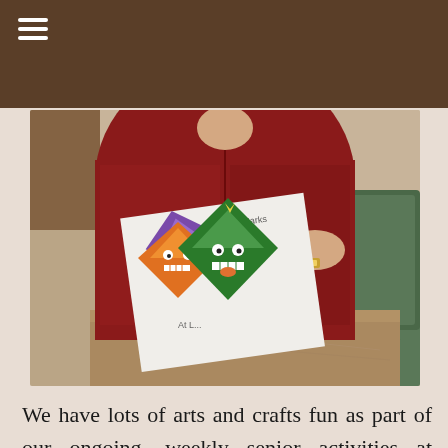≡
[Figure (photo): A person in a dark red fleece jacket holds up colorful paper craft monster bookmarks made from folded paper in purple, orange, and green, with googly eyes and teeth. A white paper template reading 'Monster Book Marks' is visible behind them. The setting appears to be a retirement home common area with a marble table and patterned carpet visible.]
We have lots of arts and crafts fun as part of our ongoing, weekly senior activities at Somerset Retirement Home and Assisted